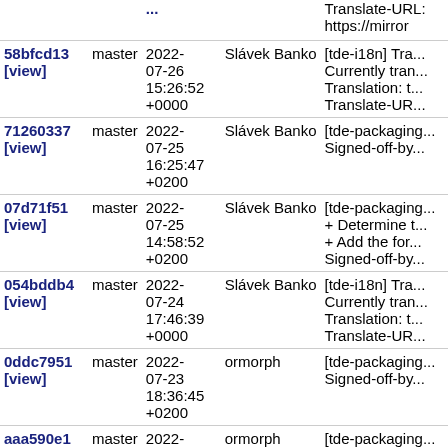| Commit | Branch | Date | Author | Message |
| --- | --- | --- | --- | --- |
| (partial top) | master | ... | ... | Translate-URL:
https://mirror... |
| 58bfcd13
[view] | master | 2022-07-26 15:26:52 +0000 | Slávek Banko | [tde-i18n] Tra...
Currently tra...
Translation: t...
Translate-UR... |
| 71260337
[view] | master | 2022-07-25 16:25:47 +0200 | Slávek Banko | [tde-packaging...
Signed-off-by... |
| 07d71f51
[view] | master | 2022-07-25 14:58:52 +0200 | Slávek Banko | [tde-packaging...
+ Determine t...
+ Add the for...
Signed-off-by... |
| 054bddb4
[view] | master | 2022-07-24 17:46:39 +0000 | Slávek Banko | [tde-i18n] Tra...
Currently tra...
Translation: t...
Translate-UR... |
| 0ddc7951
[view] | master | 2022-07-23 18:36:45 +0200 | ormorph | [tde-packaging...
Signed-off-by... |
| aaa590e1
[view] | master | 2022-07-22 ... | ormorph | [tde-packaging...
Signed-off-by... |